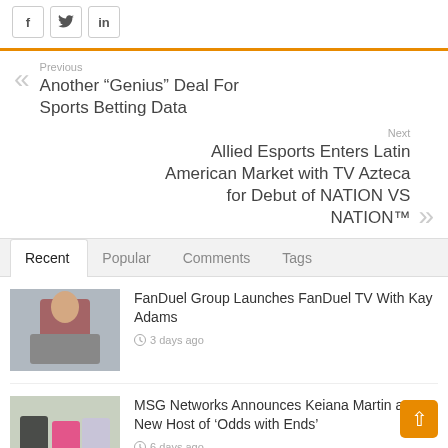[Figure (other): Social share icons for Facebook (f), Twitter (bird), and LinkedIn (in)]
Previous
Another “Genius” Deal For Sports Betting Data
Next
Allied Esports Enters Latin American Market with TV Azteca for Debut of NATION VS NATION™
Recent | Popular | Comments | Tags
FanDuel Group Launches FanDuel TV With Kay Adams
3 days ago
MSG Networks Announces Keiana Martin as New Host of ‘Odds with Ends’
6 days ago